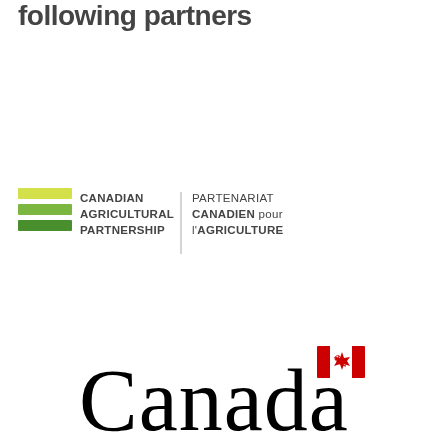following partners
[Figure (logo): Canadian Agricultural Partnership / Partenariat Canadien pour l'Agriculture bilingual logo with green horizontal stripes]
[Figure (logo): Canada wordmark with red maple leaf flag symbol]